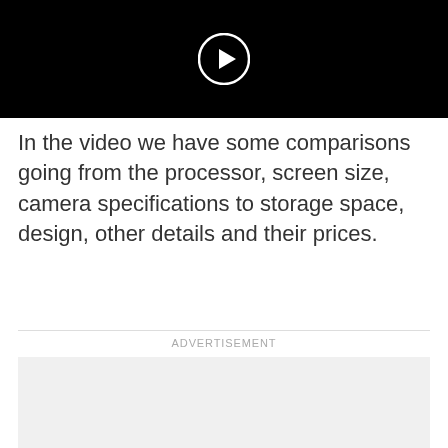[Figure (screenshot): Black video player area with a white play button icon (circle with triangle) at the top center of the page]
In the video we have some comparisons going from the processor, screen size, camera specifications to storage space, design, other details and their prices.
ADVERTISEMENT
[Figure (other): Empty light gray advertisement placeholder box]